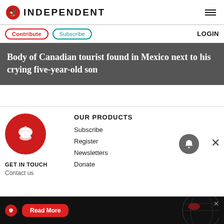INDEPENDENT
Body of Canadian tourist found in Mexico next to his crying five-year-old son
[Figure (logo): The Independent circular red eagle logo (large, footer)]
GET IN TOUCH
Contact us
OUR PRODUCTS
Subscribe
Register
Newsletters
Donate